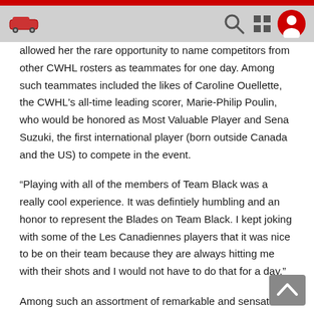allowed her the rare opportunity to name competitors from other CWHL rosters as teammates for one day. Among such teammates included the likes of Caroline Ouellette, the CWHL's all-time leading scorer, Marie-Philip Poulin, who would be honored as Most Valuable Player and Sena Suzuki, the first international player (born outside Canada and the US) to compete in the event.
“Playing with all of the members of Team Black was a really cool experience. It was defintiely humbling and an honor to represent the Blades on Team Black. I kept joking with some of the Les Canadiennes players that it was nice to be on their team because they are always hitting me with their shots and I would not have to do that for a day.”
Among such an assortment of remarkable and sensational talent, there was one All-Star teammate that Brown grew up idolizing, holding a positive impact on her career. The privilege of being able to call Julie Chu a teammate, even if only for one day, added to the